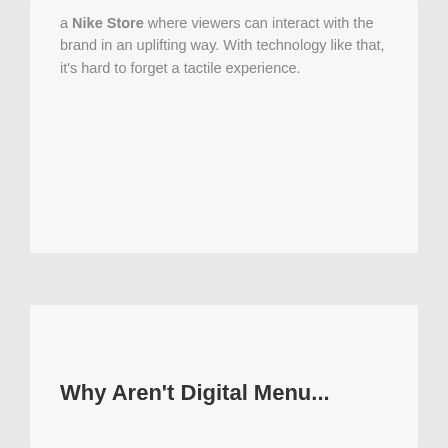a Nike Store where viewers can interact with the brand in an uplifting way. With technology like that, it's hard to forget a tactile experience.
Why Aren't Digital Menu...